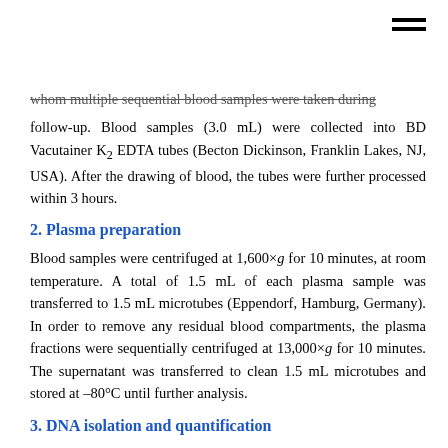whom multiple sequential blood samples were taken during follow-up. Blood samples (3.0 mL) were collected into BD Vacutainer K2 EDTA tubes (Becton Dickinson, Franklin Lakes, NJ, USA). After the drawing of blood, the tubes were further processed within 3 hours.
2. Plasma preparation
Blood samples were centrifuged at 1,600×g for 10 minutes, at room temperature. A total of 1.5 mL of each plasma sample was transferred to 1.5 mL microtubes (Eppendorf, Hamburg, Germany). In order to remove any residual blood compartments, the plasma fractions were sequentially centrifuged at 13,000×g for 10 minutes. The supernatant was transferred to clean 1.5 mL microtubes and stored at –80°C until further analysis.
3. DNA isolation and quantification
cfDNA was manually extracted from plasma (1 mL) using a QIAmp circulating nucleic acid kit (Qiagen, Hilden, Germany)